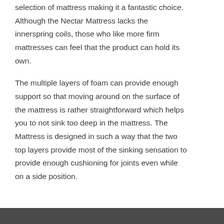selection of mattress making it a fantastic choice. Although the Nectar Mattress lacks the innerspring coils, those who like more firm mattresses can feel that the product can hold its own.
The multiple layers of foam can provide enough support so that moving around on the surface of the mattress is rather straightforward which helps you to not sink too deep in the mattress. The Mattress is designed in such a way that the two top layers provide most of the sinking sensation to provide enough cushioning for joints even while on a side position.